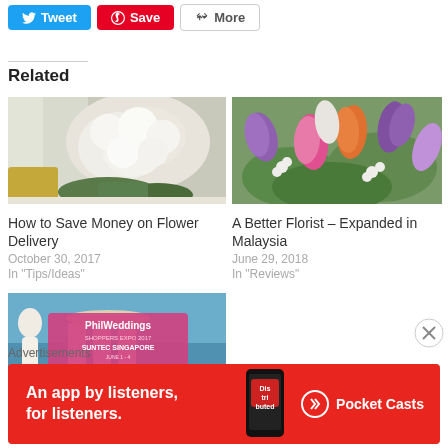[Figure (other): Social sharing buttons: Tweet (blue), Save (red/Pinterest), More (outline)]
Related
[Figure (photo): White flower bouquet arrangement on a table]
How to Save Money on Flower Delivery
October 30, 2017
In "Tips/Ideas"
[Figure (photo): Colorful tulips and mixed flowers bouquet - purple, pink, orange]
A Better Florist – Expanded in Malaysia
June 29, 2018
In "Reviews"
[Figure (photo): PhilWeddings Shoppers Expo 2017 at Suntec Singapore event promotional image]
Advertisements
[Figure (other): Pocket Casts advertisement banner: An app by listeners, for listeners.]